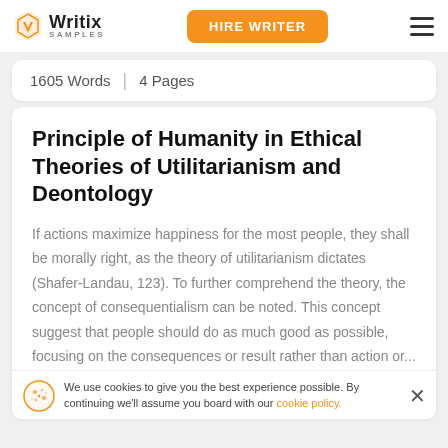Writix SAMPLES | HIRE WRITER
1605 Words | 4 Pages
Principle of Humanity in Ethical Theories of Utilitarianism and Deontology
If actions maximize happiness for the most people, they shall be morally right, as the theory of utilitarianism dictates (Shafer-Landau, 123). To further comprehend the theory, the concept of consequentialism can be noted. This concept suggest that people should do as much good as possible, focusing on the consequences or result rather than action or...
We use cookies to give you the best experience possible. By continuing we'll assume you board with our cookie policy.